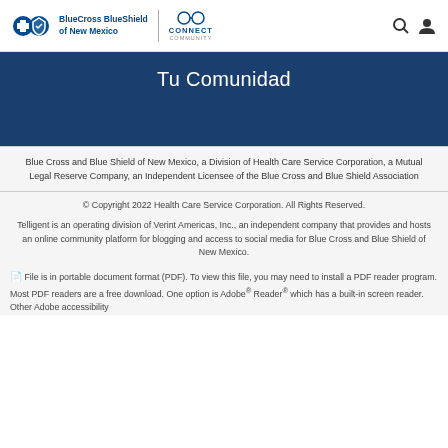BlueCross BlueShield of New Mexico | CONNECT COMMUNITY
Tu Comunidad
Blue Cross and Blue Shield of New Mexico, a Division of Health Care Service Corporation, a Mutual Legal Reserve Company, an Independent Licensee of the Blue Cross and Blue Shield Association
© Copyright 2022 Health Care Service Corporation. All Rights Reserved.
Telligent is an operating division of Verint Americas, Inc., an independent company that provides and hosts an online community platform for blogging and access to social media for Blue Cross and Blue Shield of New Mexico.
File is in portable document format (PDF). To view this file, you may need to install a PDF reader program. Most PDF readers are a free download. One option is Adobe® Reader® which has a built-in screen reader. Other Adobe accessibility